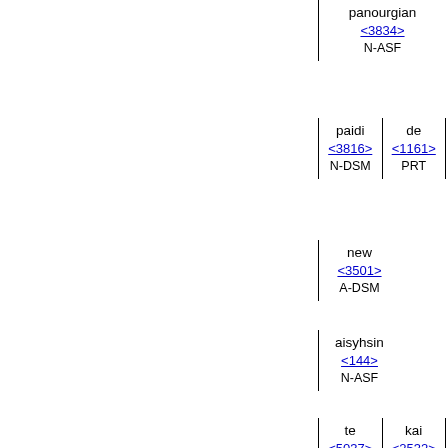panourgian <3834> N-ASF
paidi <3816> N-DSM | de <1161> PRT
new <3501> A-DSM
aisyhsin <144> N-ASF
te <5037> PRT | kai <2532> CONJ
ennoian <1771> N-ASF
NET © [draft] ITL | To impart shrewdness <06195>
to the morally naive